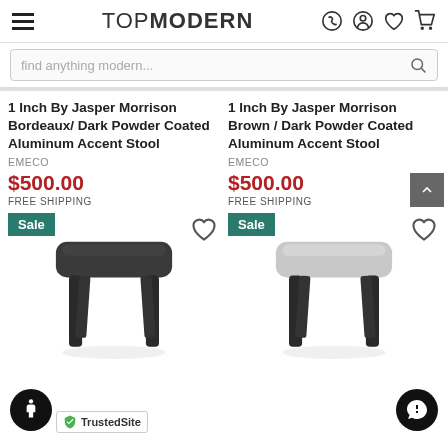TOPMODERN
find anything modern...
1 Inch By Jasper Morrison Bordeaux/ Dark Powder Coated Aluminum Accent Stool
EMECO
$500.00
FREE SHIPPING
1 Inch By Jasper Morrison Brown / Dark Powder Coated Aluminum Accent Stool
EMECO
$500.00
FREE SHIPPING
[Figure (photo): Dark powder coated aluminum accent stool with dark seat, Sale badge]
[Figure (photo): Light gray seated aluminum accent stool with dark frame, Sale badge]
TrustedSite